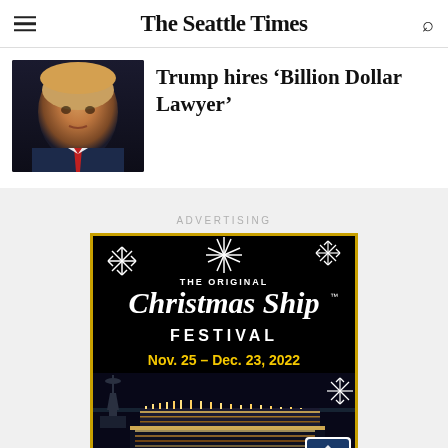The Seattle Times
Trump hires ‘Billion Dollar Lawyer’
ADVERTISING
[Figure (illustration): Advertisement for The Original Christmas Ship Festival, Nov. 25 – Dec. 23, 2022, by Argosy Cruises. Black background with white snowflakes, decorated illuminated boats on dark water with Seattle Space Needle silhouette.]